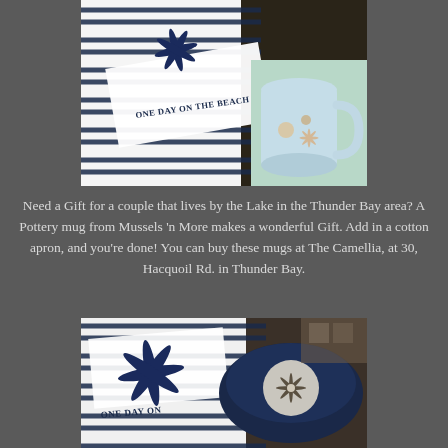[Figure (photo): Photo of a striped blue and white fabric/apron with text ONE DAY ON THE BEACH and a starfish design, alongside a light blue pottery mug with shell and starfish decorations, placed on a light green surface.]
Need a Gift for a couple that lives by the Lake in the Thunder Bay area? A Pottery mug from Mussels 'n More makes a wonderful Gift. Add in a cotton apron, and you're done! You can buy these mugs at The Camellia, at 30, Hacquoil Rd. in Thunder Bay.
[Figure (photo): Photo of same striped blue and white fabric with ONE DAY ON text visible and starfish design, with a dark blue pottery bowl with sand dollar decoration visible in the foreground.]